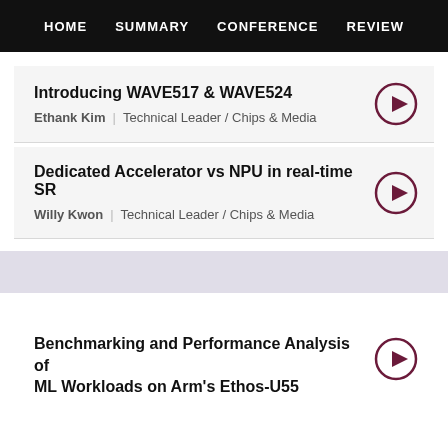HOME  SUMMARY  CONFERENCE  REVIEW
Introducing WAVE517 & WAVE524
Ethank Kim  |  Technical Leader / Chips & Media
Dedicated Accelerator vs NPU in real-time SR
Willy Kwon  |  Technical Leader / Chips & Media
Benchmarking and Performance Analysis of ML Workloads on Arm's Ethos-U55